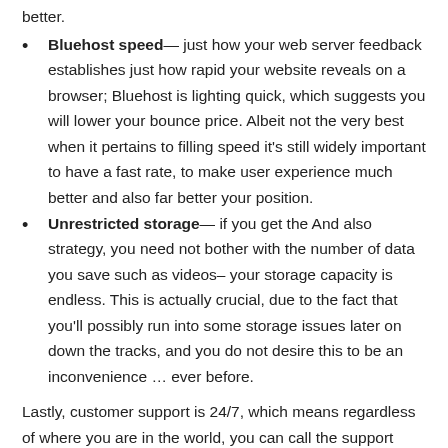better.
Bluehost speed— just how your web server feedback establishes just how rapid your website reveals on a browser; Bluehost is lighting quick, which suggests you will lower your bounce price. Albeit not the very best when it pertains to filling speed it's still widely important to have a fast rate, to make user experience much better and also far better your position.
Unrestricted storage— if you get the And also strategy, you need not bother with the number of data you save such as videos– your storage capacity is endless. This is actually crucial, due to the fact that you'll possibly run into some storage issues later on down the tracks, and you do not desire this to be an inconvenience … ever before.
Lastly, customer support is 24/7, which means regardless of where you are in the world, you can call the support team to fix your site problems. Pretty standard nowadays, but we're taking this for